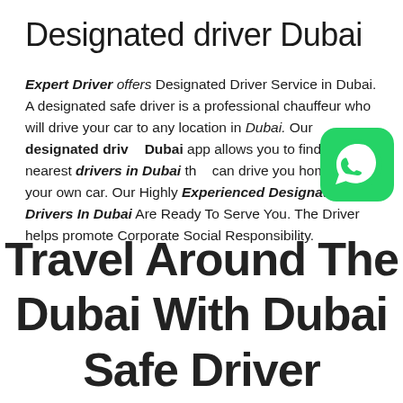Designated driver Dubai
Expert Driver offers Designated Driver Service in Dubai. A designated safe driver is a professional chauffeur who will drive your car to any location in Dubai. Our designated driver Dubai app allows you to find the nearest drivers in Dubai that can drive you home in your own car. Our Highly Experienced Designated Drivers In Dubai Are Ready To Serve You. The Driver helps promote Corporate Social Responsibility.
[Figure (logo): WhatsApp green icon button]
Travel Around The Dubai With Dubai Safe Driver